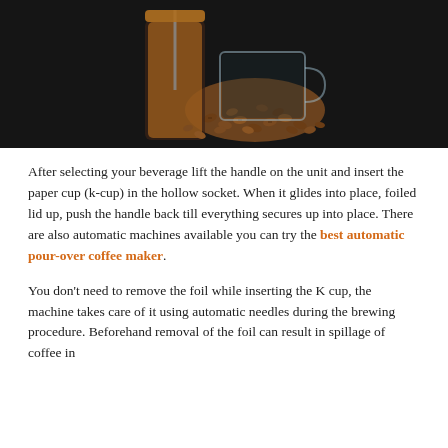[Figure (photo): Dark background photo showing coffee beans spilling out of a glass mug, with a French press and other coffee equipment visible.]
After selecting your beverage lift the handle on the unit and insert the paper cup (k-cup) in the hollow socket. When it glides into place, foiled lid up, push the handle back till everything secures up into place. There are also automatic machines available you can try the best automatic pour-over coffee maker.
You don't need to remove the foil while inserting the K cup, the machine takes care of it using automatic needles during the brewing procedure. Beforehand removal of the foil can result in spillage of coffee in